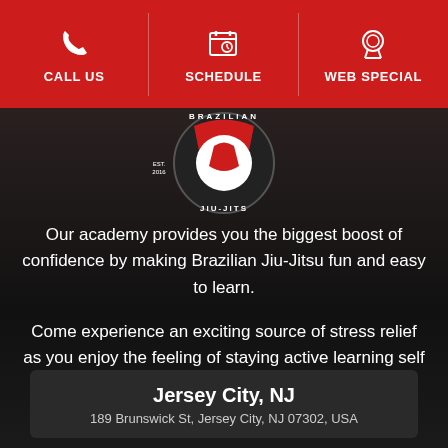CALL US | SCHEDULE | WEB SPECIAL
[Figure (logo): Brazilian Jiu-Jitsu academy circular logo with red and white design, text reading BRAZILIAN JIU-JITS around the border, EST. 2016]
Our academy provides you the biggest boost of confidence by making Brazilian Jiu-Jitsu fun and easy to learn.
Come experience an exciting source of stress relief as you enjoy the feeling of staying active learning self defense with our amazing team.
Jersey City, NJ
189 Brunswick St, Jersey City, NJ 07302, USA